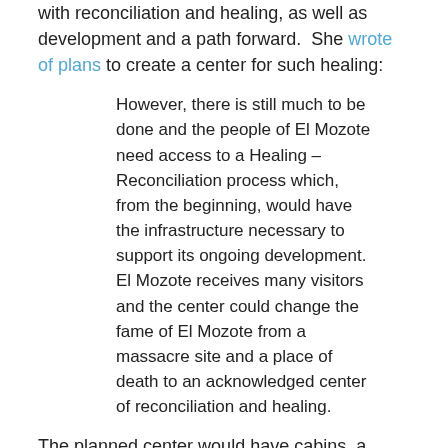with reconciliation and healing, as well as development and a path forward. She wrote of plans to create a center for such healing:
However, there is still much to be done and the people of El Mozote need access to a Healing – Reconciliation process which, from the beginning, would have the infrastructure necessary to support its ongoing development. El Mozote receives many visitors and the center could change the fame of El Mozote from a massacre site and a place of death to an acknowledged center of reconciliation and healing.
The planned center would have cabins, a spirituality/healing center with rooms for meetings and therapy, a chapel, and infrastructure to support many visitors. I hope to learn more about this project. Perhaps the reparations of which Mauricio Funes spoke this week with Sr. Anne and residents of El Mozote could help to make it a reality.
You can watch a DiscoveryNews video at this link in which both Claudia Bernardi and Sr. Anne Griffin tell the story of El Mozote and some of the signs of hope and new life in El